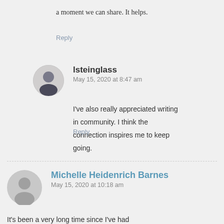a moment we can share. It helps.
Reply
lsteinglass
May 15, 2020 at 8:47 am
I've also really appreciated writing in community. I think the connection inspires me to keep going.
Reply
Michelle Heidenrich Barnes
May 15, 2020 at 10:18 am
It's been a very long time since I've had